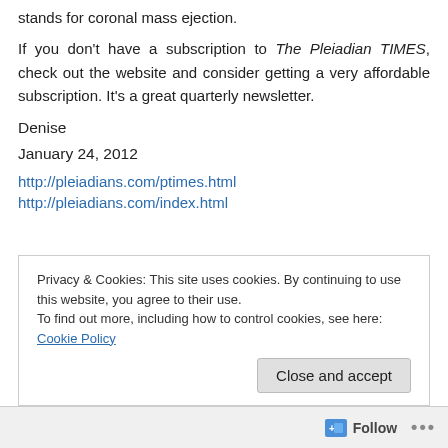stands for coronal mass ejection.
If you don't have a subscription to The Pleiadian TIMES, check out the website and consider getting a very affordable subscription. It's a great quarterly newsletter.
Denise
January 24, 2012
http://pleiadians.com/ptimes.html
http://pleiadians.com/index.html
Privacy & Cookies: This site uses cookies. By continuing to use this website, you agree to their use.
To find out more, including how to control cookies, see here: Cookie Policy
Close and accept
Follow ...